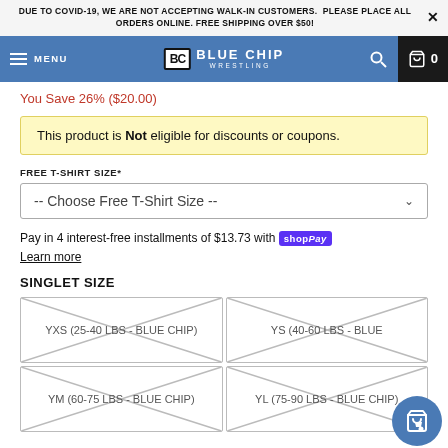DUE TO COVID-19, WE ARE NOT ACCEPTING WALK-IN CUSTOMERS. PLEASE PLACE ALL ORDERS ONLINE. FREE SHIPPING OVER $50!
[Figure (screenshot): Blue Chip Wrestling navigation bar with menu icon, BC logo, search icon, and cart icon showing 0 items]
You Save 26% ($20.00)
This product is Not eligible for discounts or coupons.
FREE T-SHIRT SIZE*
-- Choose Free T-Shirt Size --
Pay in 4 interest-free installments of $13.73 with shopPay
Learn more
SINGLET SIZE
YXS (25-40 LBS - BLUE CHIP)
YS (40-60 LBS - BLUE CHIP)
YM (60-75 LBS - BLUE CHIP)
YL (75-90 LBS - BLUE CHIP)